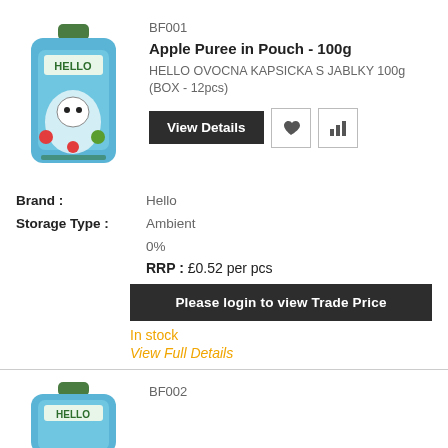[Figure (photo): Hello brand apple puree pouch product image, blue pouch with green cap]
BF001
Apple Puree in Pouch - 100g
HELLO OVOCNA KAPSICKA S JABLKY 100g (BOX - 12pcs)
View Details
Brand : Hello
Storage Type : Ambient
0%
RRP : £0.52 per pcs
Please login to view Trade Price
In stock
View Full Details
[Figure (photo): Hello brand product image, blue pouch with green cap (BF002)]
BF002